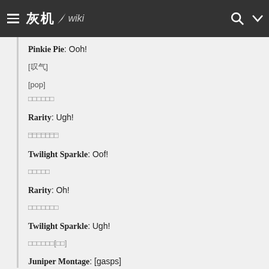灰机wiki
Pinkie Pie: Ooh!
[叹气]
[pop]
（气泡爆炸声）
Rarity: Ugh!
（气泡爆炸声）
Twilight Sparkle: Oof!
（撞击声）
Rarity: Oh!
（气泡爆炸声）
Twilight Sparkle: Ugh!
（撞击声）[叹气]
Juniper Montage: [gasps]